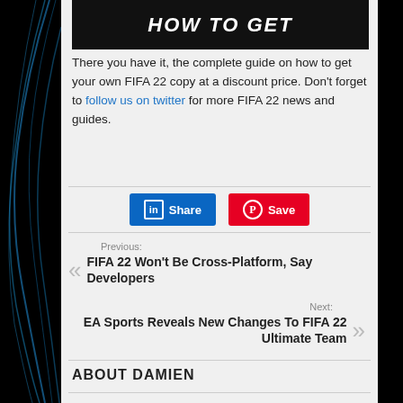[Figure (other): Partial image showing HOW TO GET text on dark background]
There you have it, the complete guide on how to get your own FIFA 22 copy at a discount price. Don't forget to follow us on twitter for more FIFA 22 news and guides.
[Figure (other): LinkedIn Share button and Pinterest Save button]
Previous:
FIFA 22 Won't Be Cross-Platform, Say Developers
Next:
EA Sports Reveals New Changes To FIFA 22 Ultimate Team
ABOUT DAMIEN